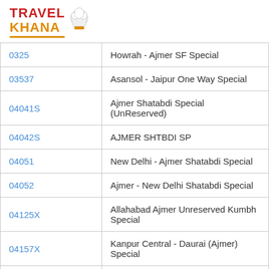[Figure (logo): TravelKhana logo with chef hat icon, TRAVEL in red and KHANA in orange with orange underline dots]
| 0325 | Howrah - Ajmer SF Special |
| 03537 | Asansol - Jaipur One Way Special |
| 04041S | Ajmer Shatabdi Special (UnReserved) |
| 04042S | AJMER SHTBDI SP |
| 04051 | New Delhi - Ajmer Shatabdi Special |
| 04052 | Ajmer - New Delhi Shatabdi Special |
| 04125X | Allahabad Ajmer Unreserved Kumbh Special |
| 04157X | Kanpur Central - Daurai (Ajmer) Special |
| 04158X | Daurai (Ajmer) - Kanpur Central Special |
| 04187XX | Jhansi - Veraval Summer Special |